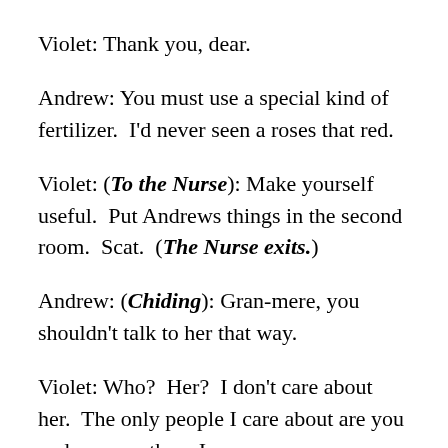Violet: Thank you, dear.
Andrew: You must use a special kind of fertilizer.  I'd never seen a roses that red.
Violet: (To the Nurse): Make yourself useful.  Put Andrews things in the second room.  Scat.  (The Nurse exits.)
Andrew: (Chiding): Gran-mere, you shouldn't talk to her that way.
Violet: Who?  Her?  I don't care about her.  The only people I care about are you and your mother.  I am